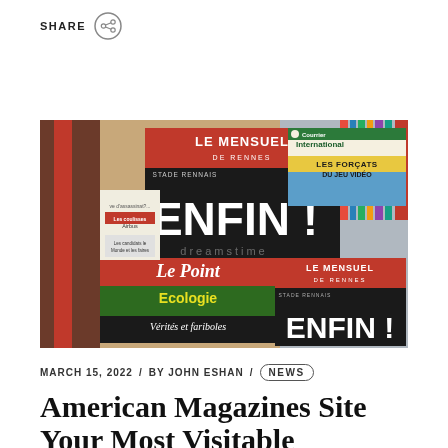SHARE
[Figure (photo): A French magazine kiosk display showing multiple French magazines including 'Le Mensuel de Rennes' with headline 'ENFIN!', 'Courrier International', 'Le Point' with 'Ecologie Vérités et fariboles', and others.]
MARCH 15, 2022 / BY JOHN ESHAN / NEWS
American Magazines Site Your Most Visitable